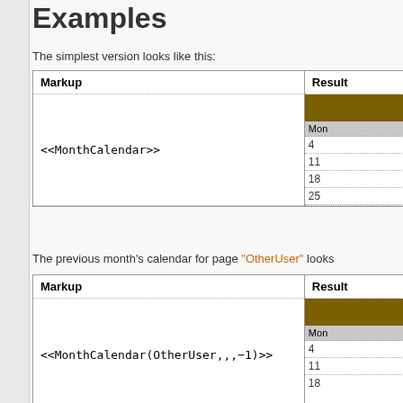Examples
The simplest version looks like this:
| Markup | Result |
| --- | --- |
| <<MonthCalendar>> | [calendar widget showing Mon column with dates 4, 11, 18, 25] |
The previous month's calendar for page "OtherUser" looks
| Markup | Result |
| --- | --- |
| <<MonthCalendar(OtherUser,,,−1)>> | [calendar widget showing Mon column with dates 4, 11, 18...] |